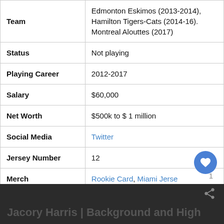| Field | Value |
| --- | --- |
| Team | Edmonton Eskimos (2013-2014), Hamilton Tigers-Cats (2014-16). Montreal Alouttes (2017) |
| Status | Not playing |
| Playing Career | 2012-2017 |
| Salary | $60,000 |
| Net Worth | $500k to $ 1 million |
| Social Media | Twitter |
| Jersey Number | 12 |
| Merch | Rookie Card, Miami Jersey |
| Last Update | September, 2022 |
Jacory Harris | Background and High